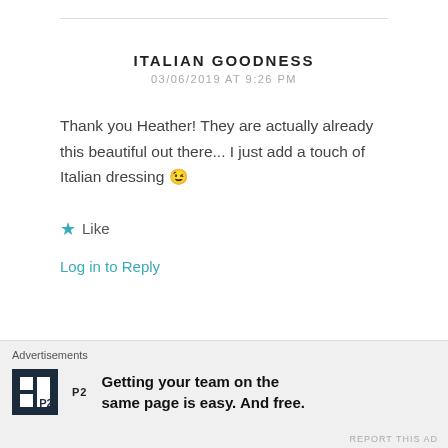ITALIAN GOODNESS
03/06/2019 AT 9:26 PM
Thank you Heather! They are actually already this beautiful out there... I just add a touch of Italian dressing 😉
★ Like
Log in to Reply
YOU CAN ALWAYS START NOW
Advertisements
Getting your team on the same page is easy. And free.